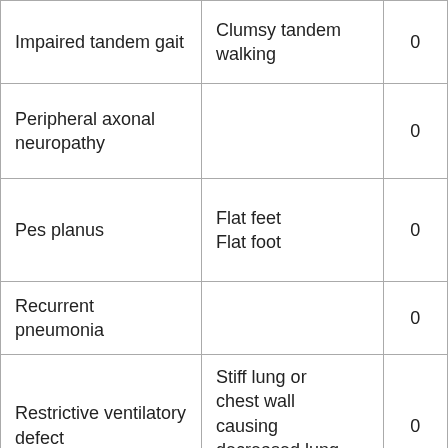| Impaired tandem gait | Clumsy tandem walking | 0 |
| Peripheral axonal neuropathy |  | 0 |
| Pes planus | Flat feet
Flat foot | 0 |
| Recurrent pneumonia |  | 0 |
| Restrictive ventilatory defect | Stiff lung or chest wall causing decreased lung volume | 0 |
| Strabismus | Cross-eyed
Squint
Squint eyes | 0 |